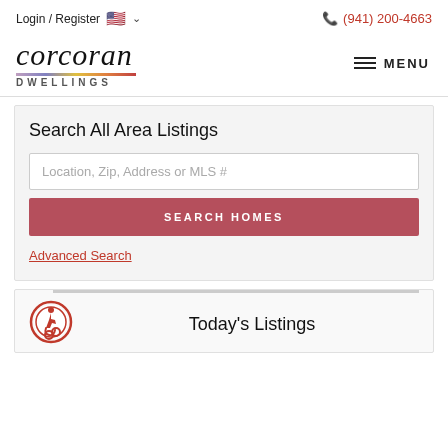Login / Register  (941) 200-4663
[Figure (logo): Corcoran Dwellings real estate logo with italic script text and colorful underline]
Search All Area Listings
Location, Zip, Address or MLS #
SEARCH HOMES
Advanced Search
Today's Listings